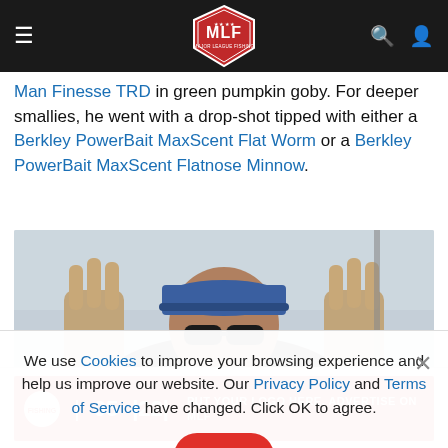MLF Major League Fishing navigation bar
Man Finesse TRD in green pumpkin goby. For deeper smallies, he went with a drop-shot tipped with either a Berkley PowerBait MaxScent Flat Worm or a Berkley PowerBait MaxScent Flatnose Minnow.
[Figure (photo): Person wearing a blue cap and sunglasses, holding hands up toward camera, outdoors with overcast sky]
We use Cookies to improve your browsing experience and help us improve our website. Our Privacy Policy and Terms of Service have changed. Click OK to agree.
[Figure (screenshot): Red advertisement banner at bottom with fishing logo and text]